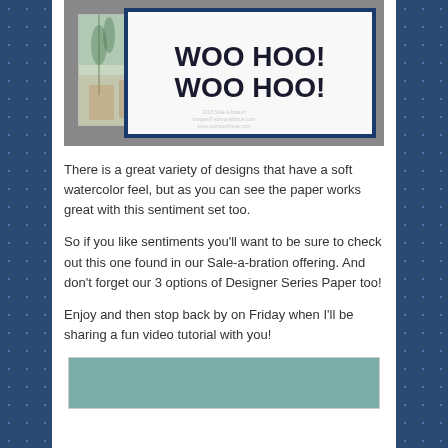[Figure (photo): A greeting card with 'WOO HOO! WOO HOO!' in bold black text on white background with dark blue border, placed on a gray surface. A watercolor-style scenic paper is visible in the corner. Watermark text visible at bottom.]
There is a great variety of designs that have a soft watercolor feel, but as you can see the paper works great with this sentiment set too.
So if you like sentiments you'll want to be sure to check out this one found in our Sale-a-bration offering. And don't forget our 3 options of Designer Series Paper too!
Enjoy and then stop back by on Friday when I'll be sharing a fun video tutorial with you!
[Figure (photo): Bottom portion of a card or product image with a muted teal/sage green background, partially visible.]